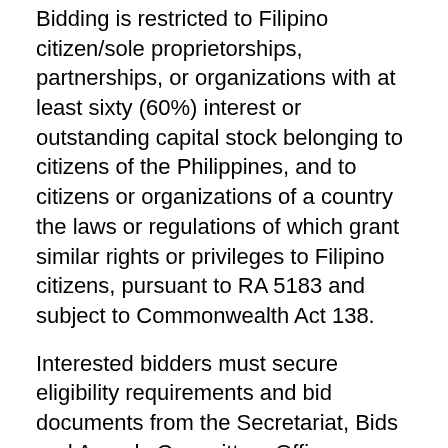Bidding is restricted to Filipino citizen/sole proprietorships, partnerships, or organizations with at least sixty (60%) interest or outstanding capital stock belonging to citizens of the Philippines, and to citizens or organizations of a country the laws or regulations of which grant similar rights or privileges to Filipino citizens, pursuant to RA 5183 and subject to Commonwealth Act 138.
Interested bidders must secure eligibility requirements and bid documents from the Secretariat, Bids and Awards Committee, Office on General Services, City Hall Compound, Dumaguete City. For more information, contact the Bids and Awards Committee Secretariat, Office of General Services, City Hall Compound, Dumaguete City, Tel. No. 22-524-29/225-3956/225-5871.
A complete set of Bidding Documents may be purchase by interested Bidders from July 13 to July 21, 2020 from address above and upon payment of a nonrefundable fee